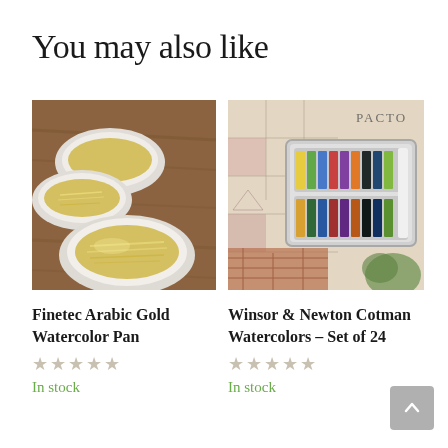You may also like
[Figure (photo): Close-up photo of three white round watercolor pans filled with metallic gold/yellow watercolor paint on a wooden surface]
Finetec Arabic Gold Watercolor Pan
★★★★★
In stock
[Figure (photo): Photo of an open Winsor & Newton Cotman watercolor set in a metal tin containing 24 half pans with various colors, placed on decorative paper with vintage map/illustration background]
Winsor & Newton Cotman Watercolors – Set of 24
★★★★★
In stock